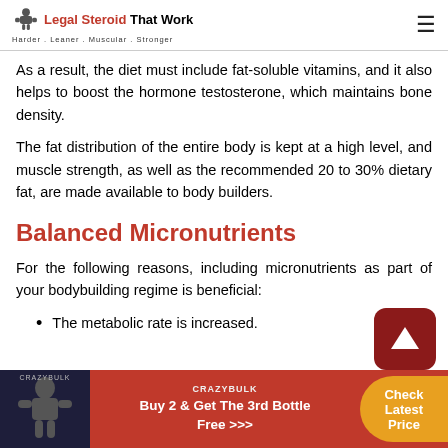Legal Steroid That Work — Harder. Leaner. Muscular. Stronger.
As a result, the diet must include fat-soluble vitamins, and it also helps to boost the hormone testosterone, which maintains bone density.
The fat distribution of the entire body is kept at a high level, and muscle strength, as well as the recommended 20 to 30% dietary fat, are made available to body builders.
Balanced Micronutrients
For the following reasons, including micronutrients as part of your bodybuilding regime is beneficial:
The metabolic rate is increased.
[Figure (infographic): Red advertisement banner at bottom: image of bodybuilder on left, center text 'Buy 2 & Get The 3rd Bottle Free >>>', orange circular button on right reading 'Check Latest Price'. CrazyBulk branding visible.]